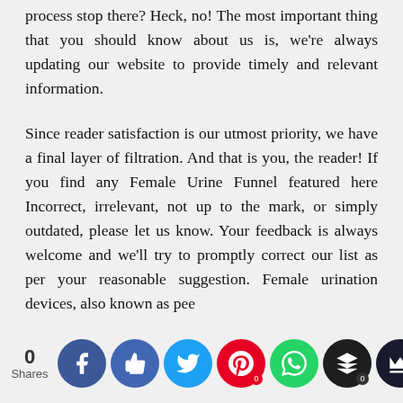process stop there? Heck, no! The most important thing that you should know about us is, we're always updating our website to provide timely and relevant information.
Since reader satisfaction is our utmost priority, we have a final layer of filtration. And that is you, the reader! If you find any Female Urine Funnel featured here Incorrect, irrelevant, not up to the mark, or simply outdated, please let us know. Your feedback is always welcome and we'll try to promptly correct our list as per your reasonable suggestion. Female urination devices, also known as pee
[Figure (other): Social sharing bar at the bottom of the page with share count '0 Shares' and circular social media buttons: Facebook (blue), Like/Thumbs-up (blue), Twitter (light blue), Pinterest (red with 0 badge), WhatsApp (green), Layers/Buffer (dark with 0 badge), and a dark crown icon button.]